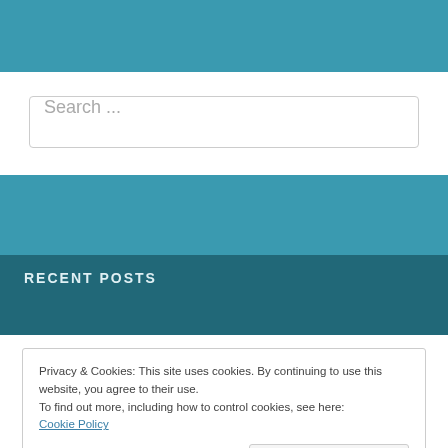[Figure (other): Teal horizontal banner bar at top of page]
Search ...
[Figure (other): Teal horizontal banner bar in middle of page]
RECENT POSTS
Privacy & Cookies: This site uses cookies. By continuing to use this website, you agree to their use.
To find out more, including how to control cookies, see here:
Cookie Policy
Close and accept